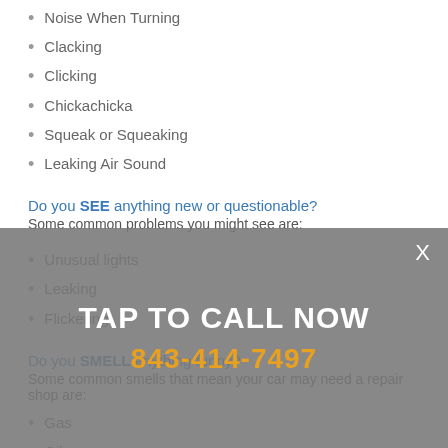Noise When Turning
Clacking
Clicking
Chickachicka
Squeak or Squeaking
Leaking Air Sound
Do you SEE anything new or questionable?
Some common problems you might see are:
Unusual lights
Leaking
Flickering
Do you SMELL anything funny?
Some common smells that mean your car may need a repair shop are:
Gas
Oil
Burning
Stop by Paul's Car Care Center located at 160 College Park Road Ladson, SC 29456 or call 843-414-7497 to talk to an
[Figure (infographic): Overlay banner with 'TAP TO CALL NOW' in white text and phone number '843-414-7497' in orange, with a close X button, on a grey semi-transparent background.]